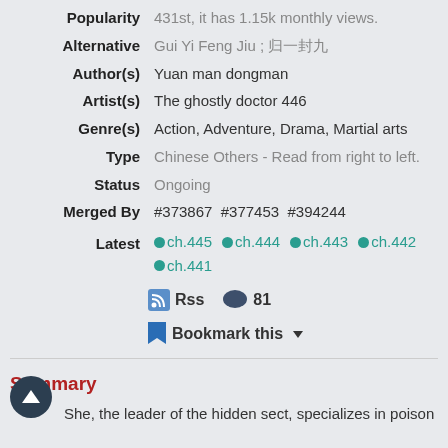Popularity  431st, it has 1.15k monthly views.
Alternative  Gui Yi Feng Jiu ; 归一封九
Author(s)  Yuan man dongman
Artist(s)  The ghostly doctor 446
Genre(s)  Action, Adventure, Drama, Martial arts
Type  Chinese Others - Read from right to left.
Status  Ongoing
Merged By  #373867  #377453  #394244
Latest  ch.445  ch.444  ch.443  ch.442  ch.441
Rss  81
Bookmark this
Summary
She, the leader of the hidden sect, specializes in poison